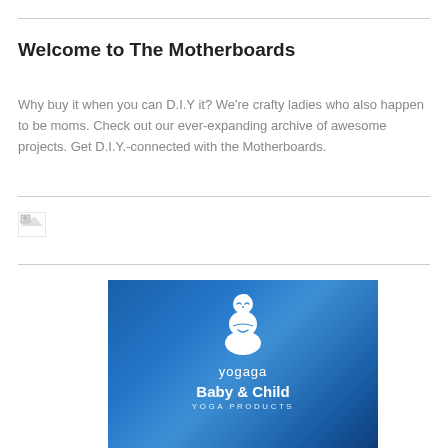Welcome to The Motherboards
Why buy it when you can D.I.Y it? We're crafty ladies who also happen to be moms. Check out our ever-expanding archive of awesome projects. Get D.I.Y.-connected with the Motherboards.
[Figure (illustration): Broken/missing image placeholder icon]
[Figure (logo): Yogaga Baby & Child Yoga Products advertisement banner with white baby yoga figure on blue gradient background]